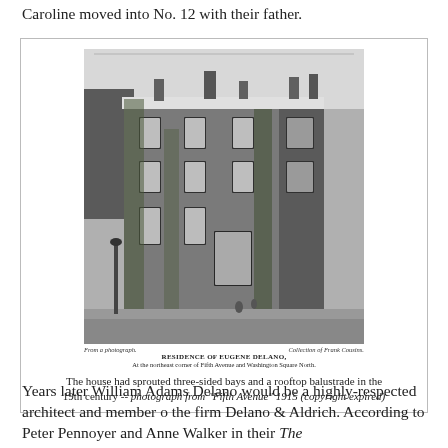Caroline moved into No. 12 with their father.
[Figure (photo): Black and white photograph of the Residence of Eugene Delano at the northeast corner of Fifth Avenue and Washington Square North, showing a brick building with three-sided bays and a rooftop balustrade. Caption reads: From a photograph. RESIDENCE OF EUGENE DELANO. Collection of Frank Cousins. At the northeast corner of Fifth Avenue and Washington Square North.]
The house had sprouted three-sided bays and a rooftop balustrade in the 19th century -- photograph from "Fifth Avenue" 1915 (copyright expired)
Years later William Adams Delano would be a highly-respected architect and member o the firm Delano & Aldrich. According to Peter Pennoyer and Anne Walker in their The Architecture of Delano & Aldrich, being well-situated...